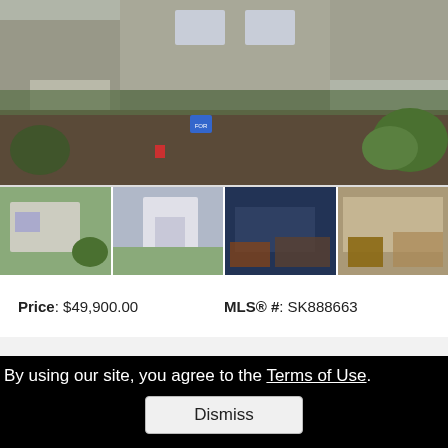[Figure (photo): Main exterior photo of a house with a large front garden bed with soil and plants, siding visible in background]
[Figure (photo): Row of four thumbnail property photos: exterior front, front door, living room interior, bedroom interior]
Price: $49,900.00    MLS® #: SK888663
Year Built: 1976    Type: Single Family
Beds: 2    Baths: 1
By using our site, you agree to the Terms of Use.
Dismiss